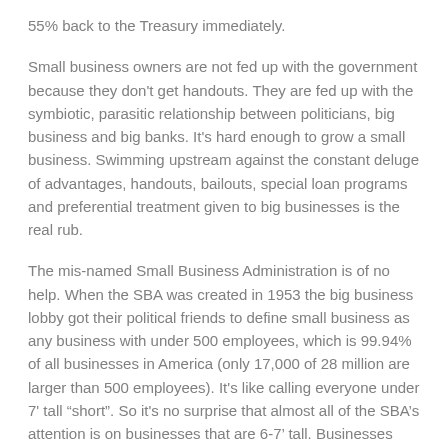55% back to the Treasury immediately.
Small business owners are not fed up with the government because they don't get handouts. They are fed up with the symbiotic, parasitic relationship between politicians, big business and big banks. It's hard enough to grow a small business. Swimming upstream against the constant deluge of advantages, handouts, bailouts, special loan programs and preferential treatment given to big businesses is the real rub.
The mis-named Small Business Administration is of no help. When the SBA was created in 1953 the big business lobby got their political friends to define small business as any business with under 500 employees, which is 99.94% of all businesses in America (only 17,000 of 28 million are larger than 500 employees). It's like calling everyone under 7' tall “short”. So it's no surprise that almost all of the SBA’s attention is on businesses that are 6-7’ tall. Businesses under 5’ 4” aren’t on the radar. So even with the SBA, true small businesses are on the outside looking in.
In 2009 Australia passed the Fair Work Act, legally defining a